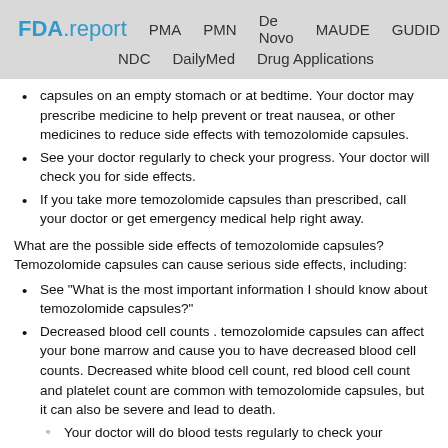FDA.report   PMA   PMN   De Novo   MAUDE   GUDID   NDC   DailyMed   Drug Applications
capsules on an empty stomach or at bedtime. Your doctor may prescribe medicine to help prevent or treat nausea, or other medicines to reduce side effects with temozolomide capsules.
See your doctor regularly to check your progress. Your doctor will check you for side effects.
If you take more temozolomide capsules than prescribed, call your doctor or get emergency medical help right away.
What are the possible side effects of temozolomide capsules? Temozolomide capsules can cause serious side effects, including:
See "What is the most important information I should know about temozolomide capsules?"
Decreased blood cell counts . temozolomide capsules can affect your bone marrow and cause you to have decreased blood cell counts. Decreased white blood cell count, red blood cell count and platelet count are common with temozolomide capsules, but it can also be severe and lead to death.
Your doctor will do blood tests regularly to check your